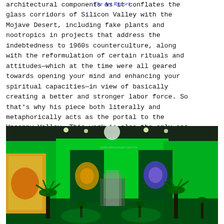The Art Report
...with very spiritually what with their architectural components as it conflates the glass corridors of Silicon Valley with the Mojave Desert, including fake plants and nootropics in projects that address the indebtedness to 1960s counterculture, along with the reformulation of certain rituals and attitudes—which at the time were all geared towards opening your mind and enhancing your spiritual capacities—in view of basically creating a better and stronger labor force. So that's why his piece both literally and metaphorically acts as the portal to the Uncanny Valley. This work is also the only one in the gallery where you actually can see an interior garden through glass, so it always had to be adjacent.
[Figure (photo): Gallery interior bathed in bright green light with artificial palm trees and other plants, artworks on green walls, and a sculptural installation in the center. Overhead fans and track lighting visible.]